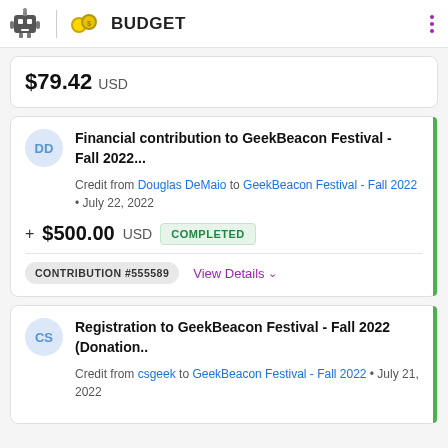BUDGET
$79.42 USD
Financial contribution to GeekBeacon Festival - Fall 2022...
Credit from Douglas DeMaio to GeekBeacon Festival - Fall 2022 • July 22, 2022
+ $500.00 USD COMPLETED
CONTRIBUTION #555589
View Details
Registration to GeekBeacon Festival - Fall 2022 (Donation..
Credit from csgeek to GeekBeacon Festival - Fall 2022 • July 21, 2022